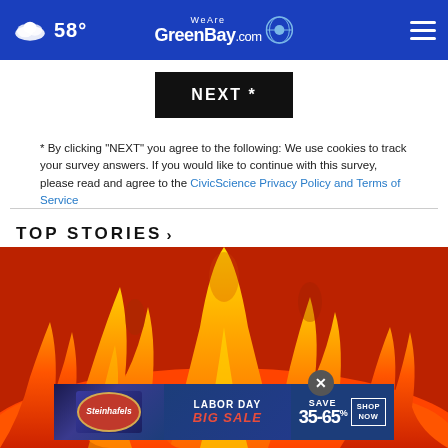58° WeAreGreenBay.com
[Figure (screenshot): NEXT * button — black background with white bold text]
* By clicking "NEXT" you agree to the following: We use cookies to track your survey answers. If you would like to continue with this survey, please read and agree to the CivicScience Privacy Policy and Terms of Service
TOP STORIES ›
[Figure (photo): Close-up photograph of orange and yellow fire flames filling the frame]
[Figure (infographic): Steinhafels Labor Day Big Sale advertisement banner: Save 35-65% Shop Now]